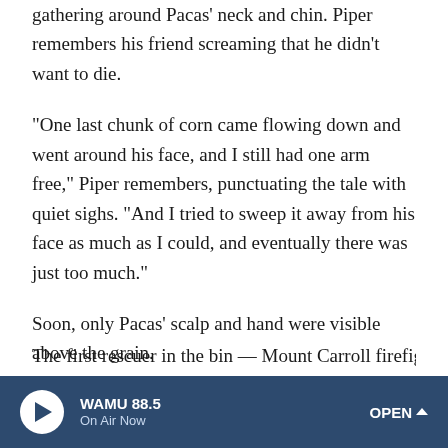gathering around Pacas' neck and chin. Piper remembers his friend screaming that he didn't want to die.
"One last chunk of corn came flowing down and went around his face, and I still had one arm free," Piper remembers, punctuating the tale with quiet sighs. "And I tried to sweep it away from his face as much as I could, and eventually there was just too much."
Soon, only Pacas' scalp and hand were visible above the grain.
"And his hand stopped moving," Piper continues. "And the corn was up to my chin at that point."
The first rescuer in the bin — Mount Carroll firefighter Tom
[Figure (other): WAMU 88.5 radio player bar at bottom of screen. Dark blue background with white play button (circular), station name WAMU 88.5, On Air Now label, and OPEN with chevron on the right.]